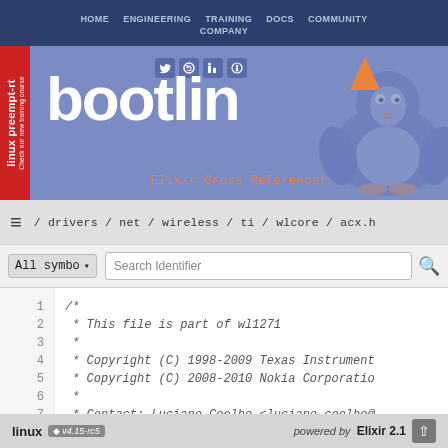HOME  ENGINEERING  TRAINING  DOCS  COMMUNITY  COMPANY
[Figure (logo): Bootlin website header with logo text 'bootlin', Elixir Cross Referencer tagline, penguin mascot, social media icons, and red sidebar label 'linux preempt-rt Check our new training course']
/ drivers / net / wireless / ti / wlcore / acx.h
All symbo ▾   Search Identifier
1    /*
2     * This file is part of wl1271
3     *
4     * Copyright (C) 1998-2009 Texas Instrument
5     * Copyright (C) 2008-2010 Nokia Corporatio
6     *
7     * Contact: Luciano Coelho <luciano.coelho@
8     *
linux  v4.15-rc5    powered by Elixir 2.1